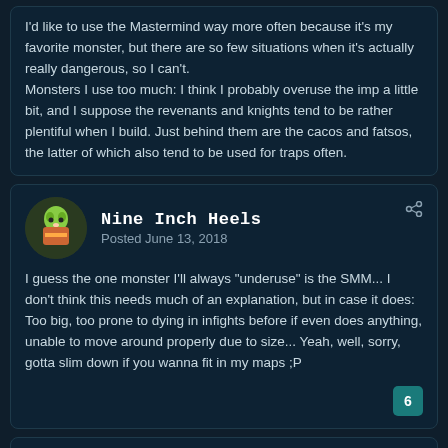I'd like to use the Mastermind way more often because it's my favorite monster, but there are so few situations when it's actually really dangerous, so I can't. Monsters I use too much: I think I probably overuse the imp a little bit, and I suppose the revenants and knights tend to be rather plentiful when I build. Just behind them are the cacos and fatsos, the latter of which also tend to be used for traps often.
Nine Inch Heels — Posted June 13, 2018
I guess the one monster I'll always "underuse" is the SMM... I don't think this needs much of an explanation, but in case it does: Too big, too prone to dying in infights before if even does anything, unable to move around properly due to size... Yeah, well, sorry, gotta slim down if you wanna fit in my maps ;P
baja blast rd.